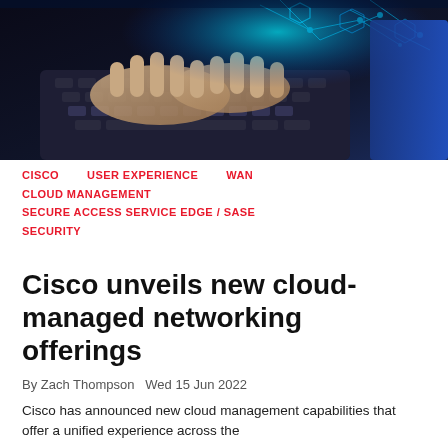[Figure (photo): Person typing on a laptop keyboard with blue digital network/circuit overlay effects glowing above the keyboard, dark background, another person visible on the right in blue clothing.]
CISCO    USER EXPERIENCE    WAN
CLOUD MANAGEMENT
SECURE ACCESS SERVICE EDGE / SASE
SECURITY
Cisco unveils new cloud-managed networking offerings
By Zach Thompson  Wed 15 Jun 2022
Cisco has announced new cloud management capabilities that offer a unified experience across the